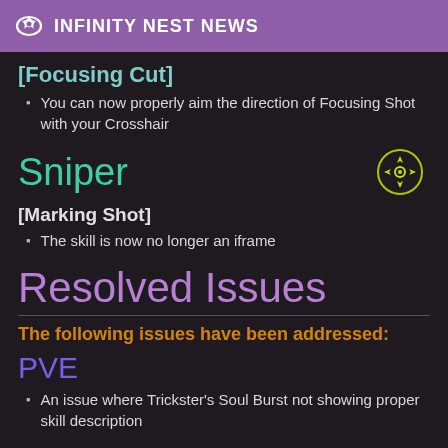INFINITY NEST NEWS
[Focusing Cut]
You can now properly aim the direction of Focusing Shot with your Crosshair
Sniper
[Marking Shot]
The skill is now no longer an iframe
Resolved Issues
The following issues have been addressed:
PVE
An issue where Trickster's Soul Burst not showing proper skill description